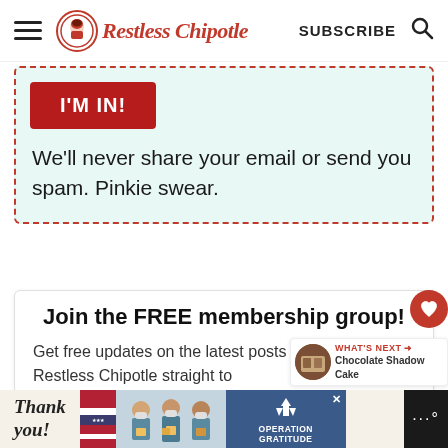Restless Chipotle — SUBSCRIBE
I'M IN!
We'll never share your email or send you spam. Pinkie swear.
Join the FREE membership group!
Get free updates on the latest posts and more from Restless Chipotle straight to
WHAT'S NEXT → Chocolate Shadow Cake
[Figure (photo): Advertisement banner: Thank you with Operation Gratitude imagery and people in masks holding packages]